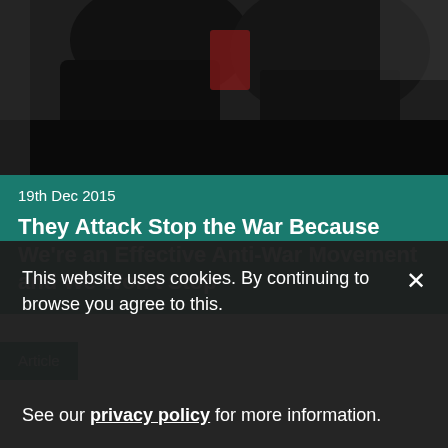[Figure (photo): Dark photograph showing figures in dark clothing, possibly protest or action scene]
19th Dec 2015
They Attack Stop the War Because We're an Effective Anti-War Movement and We Won't Stop
Article
This website uses cookies. By continuing to browse you agree to this.

See our privacy policy for more information.